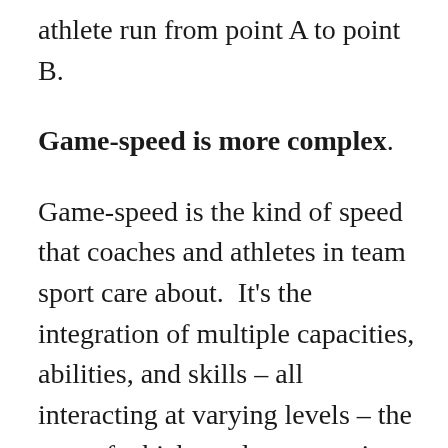athlete run from point A to point B.
Game-speed is more complex.
Game-speed is the kind of speed that coaches and athletes in team sport care about.  It’s the integration of multiple capacities, abilities, and skills – all interacting at varying levels – the sum of which produces sporting movements ‘at speed’.
This distinction between track-speed